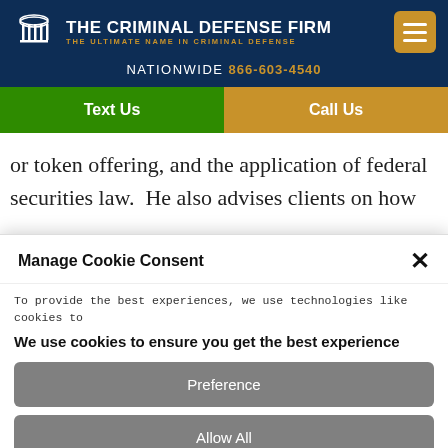[Figure (logo): The Criminal Defense Firm logo with pillar icon, white text title and orange tagline, orange hamburger menu button]
NATIONWIDE 866-603-4540
Text Us | Call Us
or token offering, and the application of federal securities law.  He also advises clients on how
Manage Cookie Consent
To provide the best experiences, we use technologies like cookies to
We use cookies to ensure you get the best experience
Preference
Allow All
Disable All